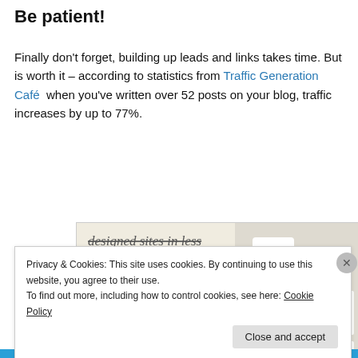Be patient!
Finally don’t forget, building up leads and links takes time. But is worth it – according to statistics from Traffic Generation Café  when you’ve written over 52 posts on your blog, traffic increases by up to 77%.
[Figure (screenshot): Advertisement image showing website builder promotion with text 'designed sites in less than a week', an 'Explore options' green button, and mockup screenshots of websites]
Privacy & Cookies: This site uses cookies. By continuing to use this website, you agree to their use.
To find out more, including how to control cookies, see here: Cookie Policy
Close and accept